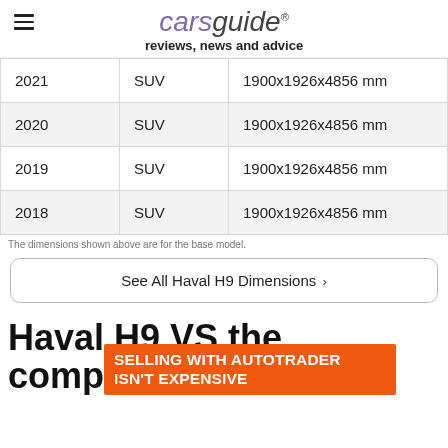carsguide reviews, news and advice
| 2021 | SUV | 1900x1926x4856 mm |
| 2020 | SUV | 1900x1926x4856 mm |
| 2019 | SUV | 1900x1926x4856 mm |
| 2018 | SUV | 1900x1926x4856 mm |
The dimensions shown above are for the base model.
See All Haval H9 Dimensions ›
Haval H9 VS the competition